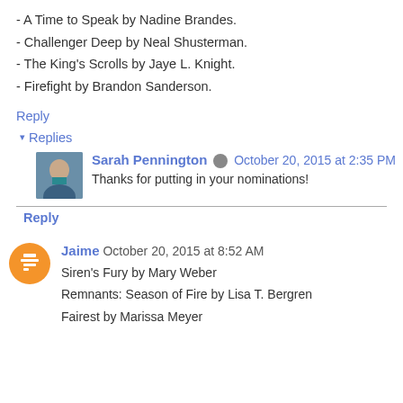- A Time to Speak by Nadine Brandes.
- Challenger Deep by Neal Shusterman.
- The King's Scrolls by Jaye L. Knight.
- Firefight by Brandon Sanderson.
Reply
▾ Replies
Sarah Pennington  October 20, 2015 at 2:35 PM
Thanks for putting in your nominations!
Reply
Jaime  October 20, 2015 at 8:52 AM
Siren's Fury by Mary Weber
Remnants: Season of Fire by Lisa T. Bergren
Fairest by Marissa Meyer